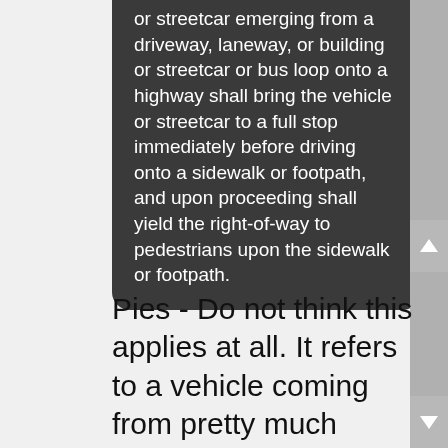or streetcar emerging from a driveway, laneway, or building or streetcar or bus loop onto a highway shall bring the vehicle or streetcar to a full stop immediately before driving onto a sidewalk or footpath, and upon proceeding shall yield the right-of-way to pedestrians upon the sidewalk or footpath.
Pies - Do not think this applies at all. It refers to a vehicle coming from pretty much everywhere and going onto a